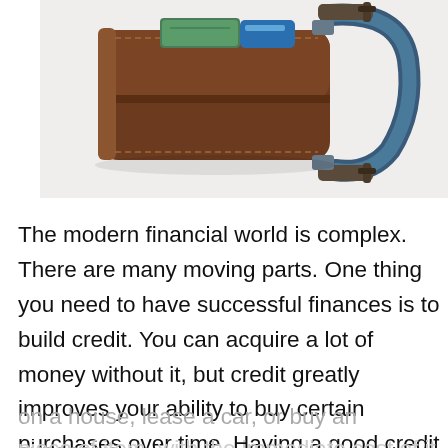[Figure (photo): A brown leather wallet being squeezed in a blue metal C-clamp against a white background, symbolizing financial pressure.]
The modern financial world is complex. There are many moving parts. One thing you need to have successful finances is to build credit. You can acquire a lot of money without it, but credit greatly improves your ability to buy certain purchases over time. Having a good credit score provides a way for you to get a mortgage on a house, lease a car, or buy an expensive piece of item, with the immediate cost of it all